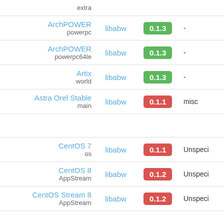| Distribution | Package | Version | Category |
| --- | --- | --- | --- |
| ArchPOWER powerpc | libabw | 0.1.3 | - |
| ArchPOWER powerpc64le | libabw | 0.1.3 | - |
| Artix world | libabw | 0.1.3 | - |
| Astra Orel Stable main | libabw | 0.1.1 | misc |
| CentOS 7 os | libabw | 0.1.1 | Unspeci |
| CentOS 8 AppStream | libabw | 0.1.2 | Unspeci |
| CentOS Stream 8 AppStream | libabw | 0.1.2 | Unspeci |